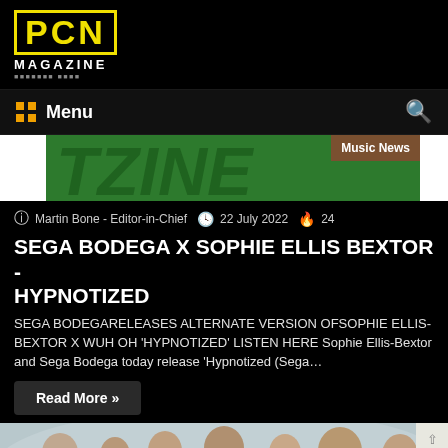PCN MAGAZINE
[Figure (logo): PCN Magazine logo — PCN in yellow bold on black background with MAGAZINE below in white]
Menu
[Figure (screenshot): Green banner image with white strips on left and right; music news badge on top right corner]
Martin Bone - Editor-in-Chief   22 July 2022   24
SEGA BODEGA X SOPHIE ELLIS BEXTOR - HYPNOTIZED
SEGA BODEGARELEASES ALTERNATE VERSION OFSOPHIE ELLIS-BEXTOR X WUH OH 'HYPNOTIZED' LISTEN HERE Sophie Ellis-Bextor and Sega Bodega today release 'Hypnotized (Sega…
Read More »
[Figure (photo): Group of people wearing white outfits against a white/grey background — band photo]